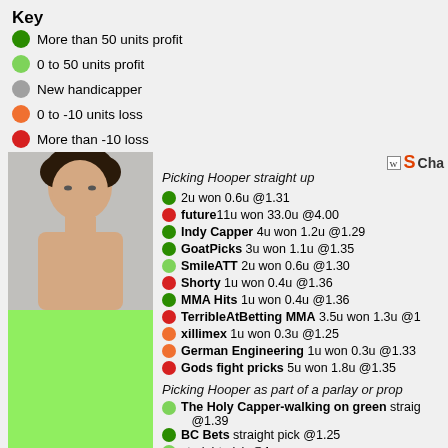Key
More than 50 units profit
0 to 50 units profit
New handicapper
0 to -10 units loss
More than -10 loss
[Figure (photo): Fighter photo (young male MMA fighter, shirtless, dark curly hair)]
Picking Hooper straight up
2u won 0.6u @1.31
future 11u won 33.0u @4.00
Indy Capper 4u won 1.2u @1.29
GoatPicks 3u won 1.1u @1.35
SmileATT 2u won 0.6u @1.30
Shorty 1u won 0.4u @1.36
MMA Hits 1u won 0.4u @1.36
TerribleAtBetting MMA 3.5u won 1.3u @1...
xillimex 1u won 0.3u @1.25
German Engineering 1u won 0.3u @1.33
Gods fight pricks 5u won 1.8u @1.35
Picking Hooper as part of a parlay or prop
The Holy Capper-walking on green straight... @1.39
BC Bets straight pick @1.25
... straight pick @1...